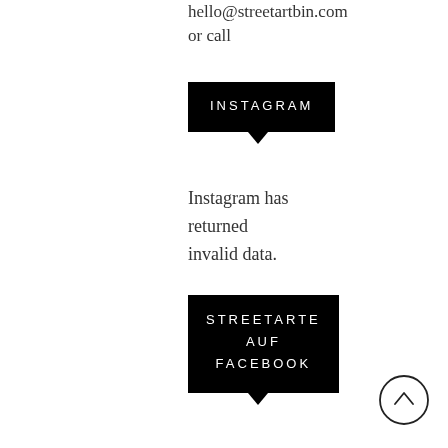hello@streetartbin.com or call
[Figure (other): Black speech-bubble button with white uppercase text 'INSTAGRAM' and downward pointing arrow]
Instagram has returned invalid data.
[Figure (other): Black speech-bubble button with white uppercase text 'STREETARTE AUF FACEBOOK' and downward pointing arrow]
[Figure (other): Circle with upward chevron arrow (scroll-to-top button)]